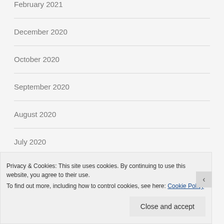February 2021
December 2020
October 2020
September 2020
August 2020
July 2020
May 2020
Privacy & Cookies: This site uses cookies. By continuing to use this website, you agree to their use.
To find out more, including how to control cookies, see here: Cookie Policy
Close and accept